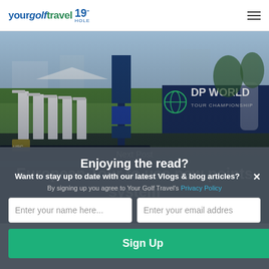yourgolftravel 19" HOLE
[Figure (photo): Golf course and DP World Tour Championship event setup with trophies and signage]
Next Post
European Tour to use new points system
Enjoying the read?
Want to stay up to date with our latest Vlogs & blog articles?
By signing up you agree to Your Golf Travel's Privacy Policy
Enter your name here...
Enter your email addres
Sign Up